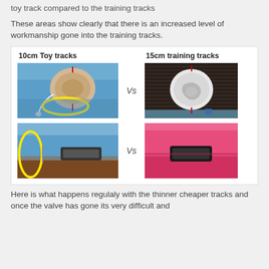toy track compared to the training tracks
These areas show clearly that there is an increased level of workmanship gone into the training tracks.
[Figure (illustration): Comparison of 10cm Toy tracks vs 15cm training tracks showing valve/cap details and handle attachment details side by side with 'Vs' labels and yellow circles highlighting defects on the toy tracks]
Here is what happens regulaly with the thinner cheaper tracks and once the valve has gone its very difficult and